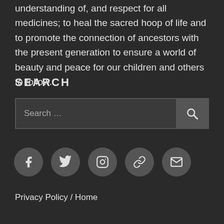understanding of, and respect for all medicines; to heal the sacred hoop of life and to promote the connection of ancestors with the present generation to ensure a world of beauty and peace for our children and others to follow.
SEARCH
[Figure (screenshot): Search bar with text input field showing placeholder 'Search ...' and a dark search button with magnifying glass icon]
[Figure (infographic): Row of five circular dark social media icon buttons: Facebook, Twitter, Instagram, a link/chain icon, and an email/envelope icon]
Privacy Policy / Home